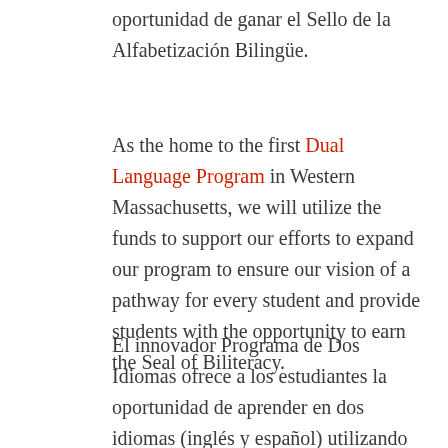oportunidad de ganar el Sello de la Alfabetización Bilingüe.
As the home to the first Dual Language Program in Western Massachusetts, we will utilize the funds to support our efforts to expand our program to ensure our vision of a pathway for every student and provide students with the opportunity to earn the Seal of Biliteracy.
El innovador Programa de Dos Idiomas ofrece a los estudiantes la oportunidad de aprender en dos idiomas (inglés y español) utilizando un plan de estudios alineado con el marco curricular del